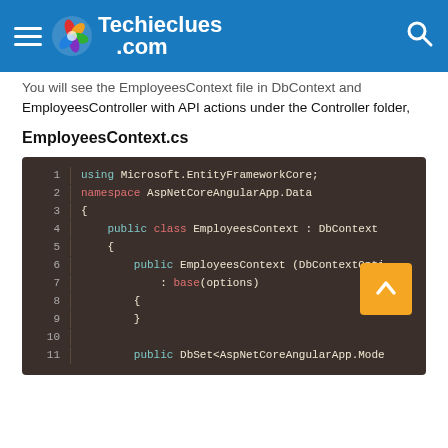Techieclues.com
You will see the EmployeesContext file in DbContext and EmployeesController with API actions under the Controller folder,
EmployeesContext.cs
[Figure (screenshot): Code snippet showing EmployeesContext.cs file with C# code using Microsoft.EntityFrameworkCore, namespace AspNetCoreAngularApp.Data, public class EmployeesContext : DbContext with constructor and DbSet declaration, lines 1-11 visible]